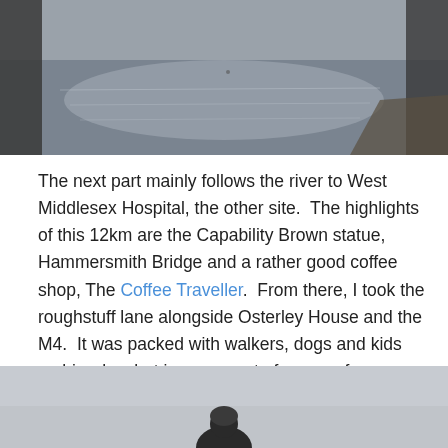[Figure (photo): Top portion of a photo showing a river or waterway scene with grey sky and shoreline, figures visible at edges]
The next part mainly follows the river to West Middlesex Hospital, the other site.  The highlights of this 12km are the Capability Brown statue, Hammersmith Bridge and a rather good coffee shop, The Coffee Traveller.  From there, I took the roughstuff lane alongside Osterley House and the M4.  It was packed with walkers, dogs and kids on bicycles, but is a moment of escape from grey suburbia.  After this it was the Uxbridge Road, accompanied by motorised traffic with the occasional utility cyclist.
[Figure (photo): Bottom portion of a photo showing a cyclist against a grey overcast sky]